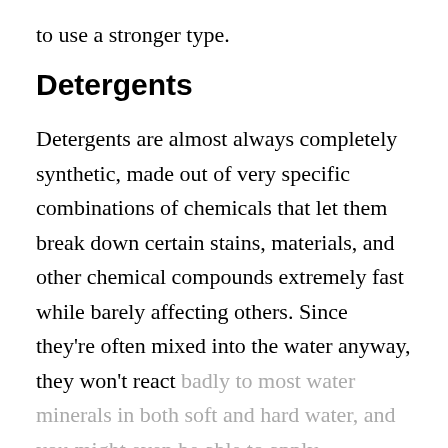to use a stronger type.
Detergents
Detergents are almost always completely synthetic, made out of very specific combinations of chemicals that let them break down certain stains, materials, and other chemical compounds extremely fast while barely affecting others. Since they’re often mixed into the water anyway, they won’t react badly to most water minerals in both soft and hard water, and you might even be able to apply